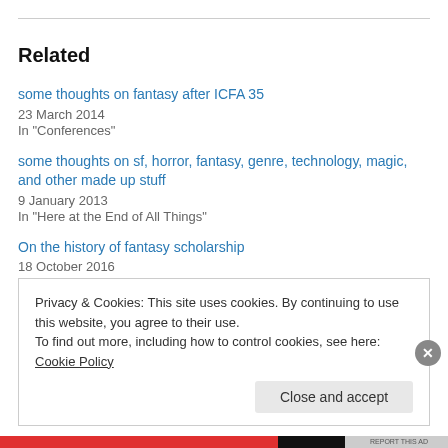Related
some thoughts on fantasy after ICFA 35
23 March 2014
In "Conferences"
some thoughts on sf, horror, fantasy, genre, technology, magic, and other made up stuff
9 January 2013
In "Here at the End of All Things"
On the history of fantasy scholarship
18 October 2016
Privacy & Cookies: This site uses cookies. By continuing to use this website, you agree to their use.
To find out more, including how to control cookies, see here: Cookie Policy
Close and accept